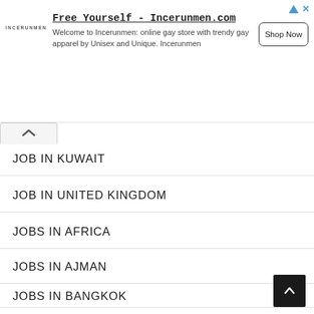[Figure (other): Advertisement banner for Incerunmen.com with logo, title 'Free Yourself - Incerunmen.com', description text, and 'Shop Now' button]
JOB IN KUWAIT
JOB IN UNITED KINGDOM
JOBS IN AFRICA
JOBS IN AJMAN
JOBS IN BANGKOK
JOBS IN BANGLADESH
JOBS IN BOSTON